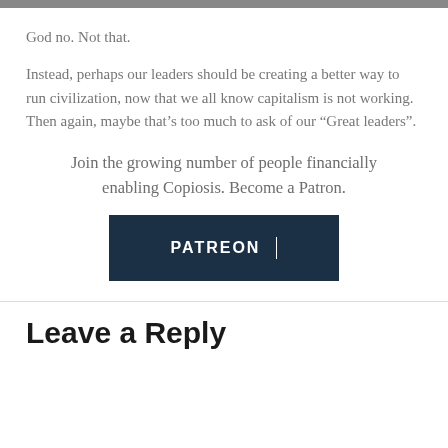God no. Not that.
Instead, perhaps our leaders should be creating a better way to run civilization, now that we all know capitalism is not working. Then again, maybe that’s too much to ask of our “Great leaders”.
Join the growing number of people financially enabling Copiosis. Become a Patron.
[Figure (logo): Patreon button with dark navy background and white bold text reading PATREON with a vertical divider line]
Leave a Reply